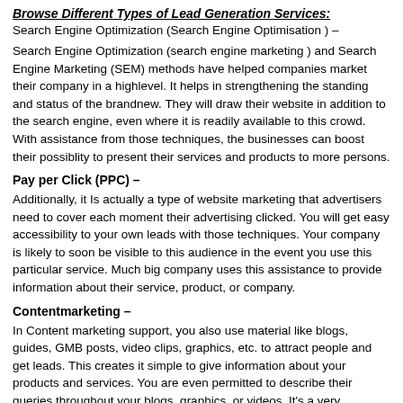Browse Different Types of Lead Generation Services:
Search Engine Optimization (Search Engine Optimisation ) –
Search Engine Optimization (search engine marketing ) and Search Engine Marketing (SEM) methods have helped companies market their company in a highlevel. It helps in strengthening the standing and status of the brandnew. They will draw their website in addition to the search engine, even where it is readily available to this crowd. With assistance from those techniques, the businesses can boost their possiblity to present their services and products to more persons.
Pay per Click (PPC) –
Additionally, it Is actually a type of website marketing that advertisers need to cover each moment their advertising clicked. You will get easy accessibility to your own leads with those techniques. Your company is likely to soon be visible to this audience in the event you use this particular service. Much big company uses this assistance to provide information about their service, product, or company.
Contentmarketing –
In Content marketing support, you also use material like blogs, guides, GMB posts, video clips, graphics, etc. to attract people and get leads. This creates it simple to give information about your products and services. You are even permitted to describe their queries throughout your blogs, graphics, or videos. It's a very demanding service at the current sector.
ABM Marketing and Advertising —
Account-based Promotion gives you the capacity to target best-fit accounts…